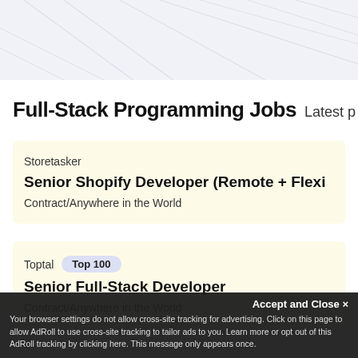Full-Stack Programming Jobs Latest p
Storetasker
Senior Shopify Developer (Remote + Flexi
Contract/Anywhere in the World
Toptal  Top 100
Senior Full-Stack Developer
Contract/Anywhere in the World
Accept and Close ✕
Your browser settings do not allow cross-site tracking for advertising. Click on this page to allow AdRoll to use cross-site tracking to tailor ads to you. Learn more or opt out of this AdRoll tracking by clicking here. This message only appears once.